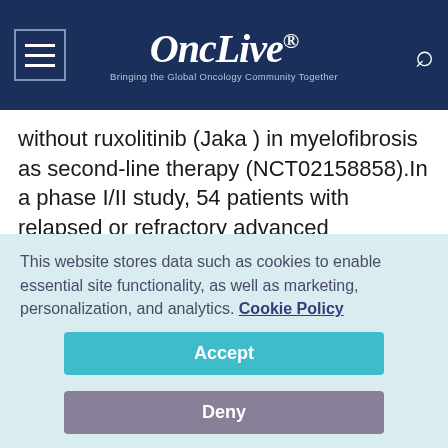OncLive® — Bringing the Global Oncology Community Together
without ruxolitinib (Jaka ) in myelofibrosis as second-line therapy (NCT02158858).In a phase I/II study, 54 patients with relapsed or refractory advanced malignancies were treated with INCB057643. Fifty patients had solid tumors, and 4 had lymphoma.17
One patient (2%) with non—small cell lung cancer
This website stores data such as cookies to enable essential site functionality, as well as marketing, personalization, and analytics. Cookie Policy
Accept
Deny